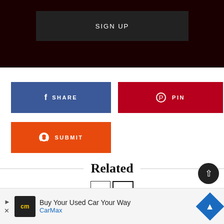[Figure (screenshot): Dark red/black banner with SIGN UP button]
[Figure (screenshot): Facebook SHARE button (blue) and Pinterest PIN button (dark red)]
[Figure (screenshot): Reddit SUBMIT button (orange)]
Related
[Figure (screenshot): Navigation arrows: left and right pagination buttons]
[Figure (screenshot): Ad banner: Buy Your Used Car Your Way - CarMax]